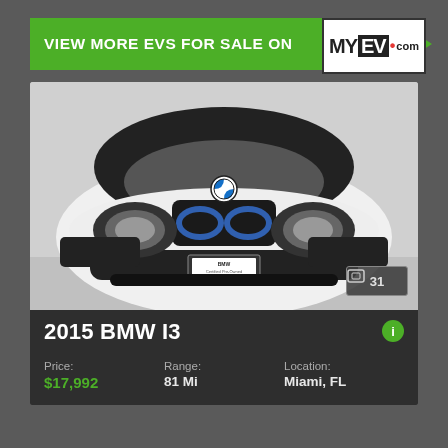VIEW MORE EVS FOR SALE ON
[Figure (logo): MYEV.com logo with black and white box design]
[Figure (photo): Front view of a white 2015 BMW i3 electric vehicle with blue grille accents, BMW roundel, and dealer license plate frame. Badge showing 31 photos.]
2015 BMW I3
Price: $17,992
Range: 81 Mi
Location: Miami, FL